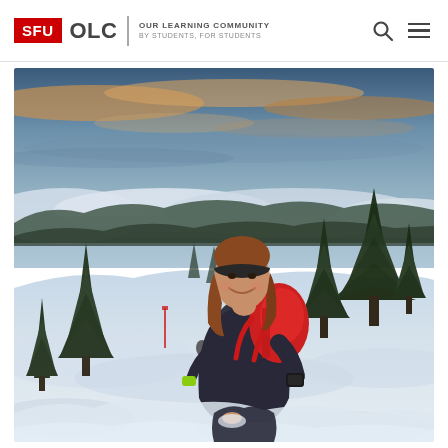SFU OLC | OUR LEARNING COMMUNITY BY STUDENTS, FOR STUDENTS
[Figure (photo): A smiling young woman wearing a dark headband and carrying a large red backpack, kneeling in deep snow on a mountain summit. She is surrounded by snow-covered terrain and evergreen trees. The background shows a dramatic sky with clouds and a mountain range below the cloud layer. Other hikers are visible in the background. The scene appears to be at a ski or hiking area in winter conditions.]